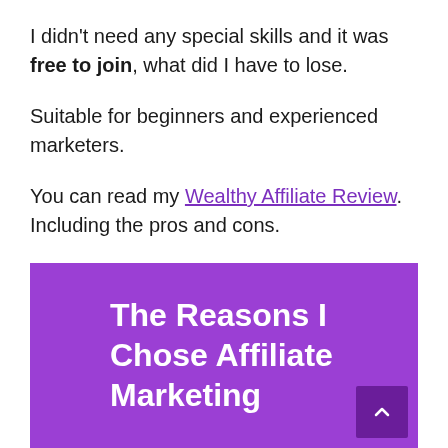I didn't need any special skills and it was free to join, what did I have to lose.
Suitable for beginners and experienced marketers.
You can read my Wealthy Affiliate Review. Including the pros and cons.
[Figure (other): Purple banner box with white text reading 'The Reasons I Chose Affiliate Marketing' and a dark purple scroll-to-top button with an upward chevron arrow.]